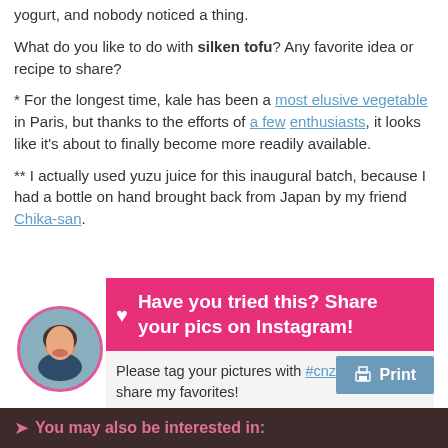yogurt, and nobody noticed a thing.
What do you like to do with silken tofu? Any favorite idea or recipe to share?
* For the longest time, kale has been a most elusive vegetable in Paris, but thanks to the efforts of a few enthusiasts, it looks like it's about to finally become more readily available.
** I actually used yuzu juice for this inaugural batch, because I had a bottle on hand brought back from Japan by my friend Chika-san.
[Figure (infographic): Call-to-action box with circular avatar photo of a woman, pink banner saying 'Have you tried this? Share your pics on Instagram!' with a heart icon, and sub-text 'Please tag your pictures with #cnzrecipes. I'll share my favorites!']
Print
You may also be interested in: